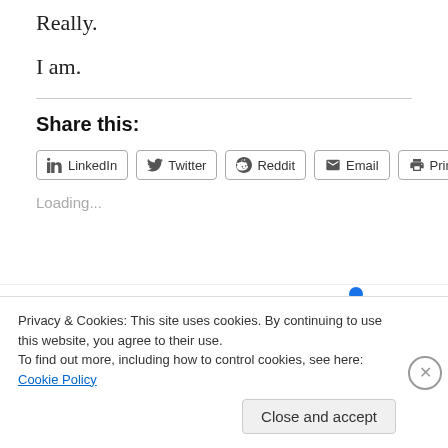Really.
I am.
Share this:
LinkedIn | Twitter | Reddit | Email | Print
Loading...
Privacy & Cookies: This site uses cookies. By continuing to use this website, you agree to their use.
To find out more, including how to control cookies, see here: Cookie Policy
Close and accept